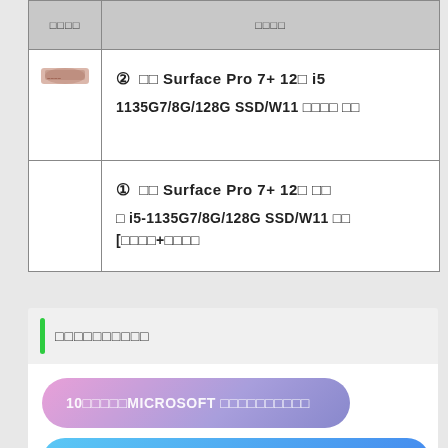| □□□□ | □□□□ |
| --- | --- |
| [image] | ② □□ Surface Pro 7+ 12□ i5 1135G7/8G/128G SSD/W11 □□□□ □□ |
|  | ① □□ Surface Pro 7+ 12□ □□ □ i5-1135G7/8G/128G SSD/W11 □□ [□□□□+□□□□ |
□□□□□□□□□□
10□□□□□MICROSOFT □□□□□□□□□□
[blue button text]